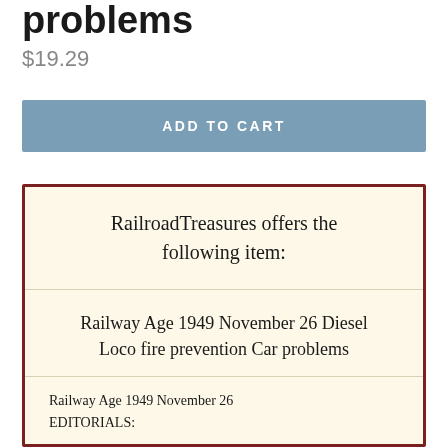problems
$19.29
ADD TO CART
RailroadTreasures offers the following item:
Railway Age 1949 November 26 Diesel Loco fire prevention Car problems
Railway Age 1949 November 26
EDITORIALS: